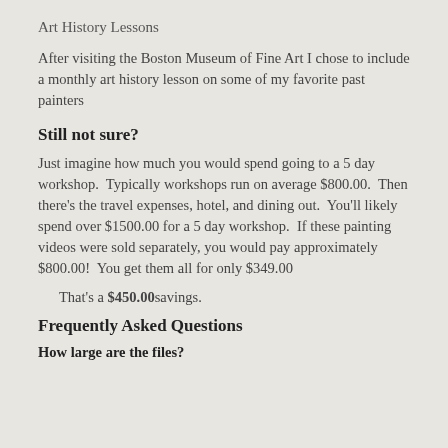Art History Lessons
After visiting the Boston Museum of Fine Art I chose to include a monthly art history lesson on some of my favorite past painters
Still not sure?
Just imagine how much you would spend going to a 5 day workshop.  Typically workshops run on average $800.00.  Then there's the travel expenses, hotel, and dining out.  You'll likely spend over $1500.00 for a 5 day workshop.  If these painting videos were sold separately, you would pay approximately $800.00!  You get them all for only $349.00
That's a $450.00 savings.
Frequently Asked Questions
How large are the files?